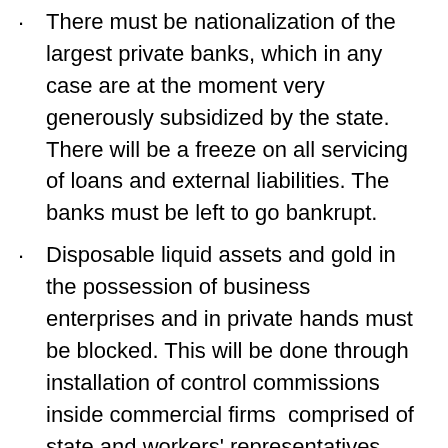There must be nationalization of the largest private banks, which in any case are at the moment very generously subsidized by the state. There will be a freeze on all servicing of loans and external liabilities. The banks must be left to go bankrupt.
Disposable liquid assets and gold in the possession of business enterprises and in private hands must be blocked. This will be done through installation of control commissions inside commercial firms comprised of state and workers' representatives.
All forms of tax-evading business practices (offshore companies, portfolio